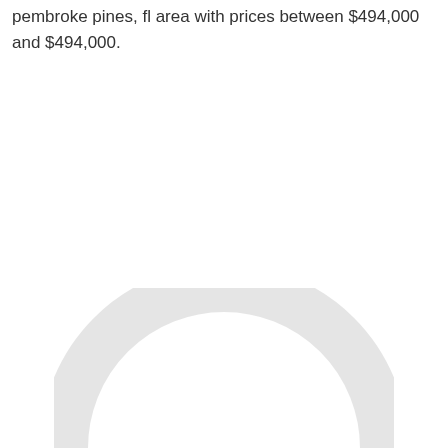pembroke pines, fl area with prices between $494,000 and $494,000.
[Figure (other): Partial circular arc or logo at bottom of page, light gray color, cropped]